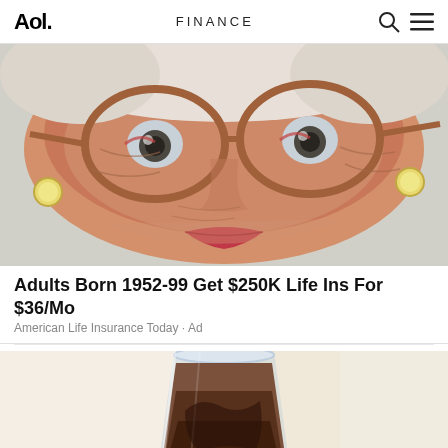Aol. FINANCE
[Figure (photo): Close-up photo of an elderly woman with glasses and pearl earrings]
Adults Born 1952-99 Get $250K Life Ins For $36/Mo
American Life Insurance Today · Ad
[Figure (photo): Partial image of a glass with dark liquid, possibly wine or another beverage]